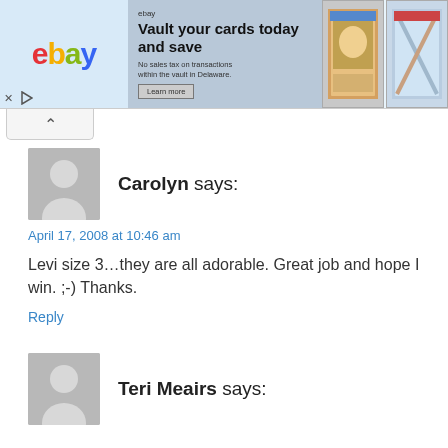[Figure (screenshot): eBay advertisement banner: 'Vault your cards today and save. No sales tax on transactions within the vault in Delaware. Learn more.' with two trading card images on the right.]
Carolyn says:
April 17, 2008 at 10:46 am
Levi size 3...they are all adorable. Great job and hope I win. ;-) Thanks.
Reply
Teri Meairs says: